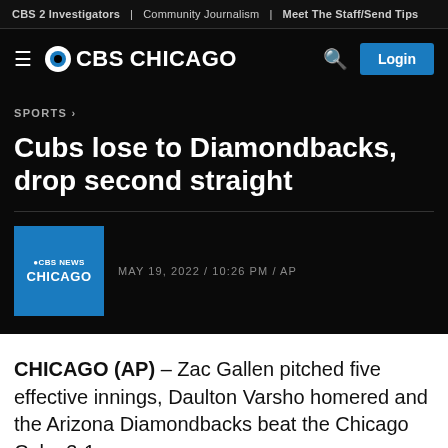CBS 2 Investigators | Community Journalism | Meet The Staff/Send Tips
CBS CHICAGO
SPORTS >
Cubs lose to Diamondbacks, drop second straight
MAY 19, 2022 / 10:26 PM / AP
CHICAGO (AP) – Zac Gallen pitched five effective innings, Daulton Varsho homered and the Arizona Diamondbacks beat the Chicago Cubs 3-1 on